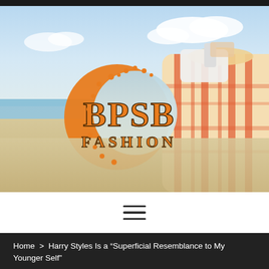[Figure (logo): BPSB Fashion logo with orange crescent C shape and text BPSB FASHION overlaid on a beach scene with a striped orange and white beach bag]
[Figure (other): Hamburger menu icon with three horizontal lines]
Home > Harry Styles Is a “Superficial Resemblance to My Younger Self”